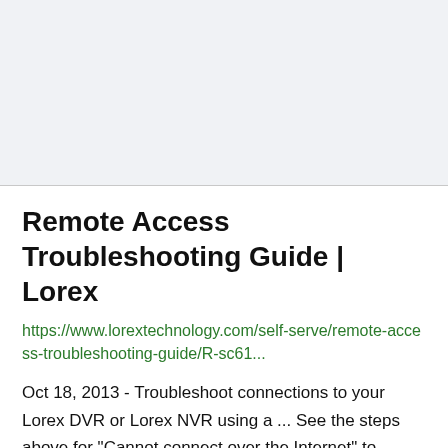Remote Access Troubleshooting Guide | Lorex
https://www.lorextechnology.com/self-serve/remote-access-troubleshooting-guide/R-sc61...
Oct 18, 2013 - Troubleshoot connections to your Lorex DVR or Lorex NVR using a ... See the steps above for "Cannot connect over the Internet" to troubleshoot Internet setup... The router is